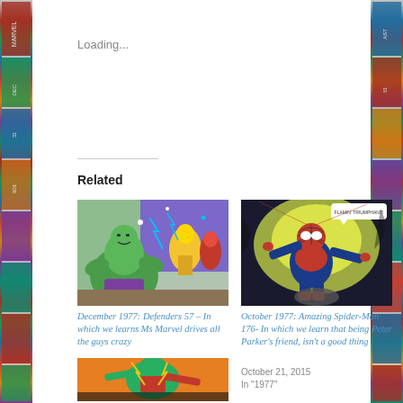Loading...
Related
[Figure (illustration): Comic book art showing the Hulk and other characters in action scene — Defenders 57]
December 1977: Defenders 57 – In which we learns Ms Marvel drives all the guys crazy
October 28, 2015
In "1977"
[Figure (illustration): Comic book art showing Spider-Man in action — Amazing Spider-Man 176]
October 1977: Amazing Spider-Man 176- In which we learn that being Peter Parker's friend, isn't a good thing
October 21, 2015
In "1977"
[Figure (illustration): Comic book art showing a Marvel character in red and green — bottom left thumbnail]